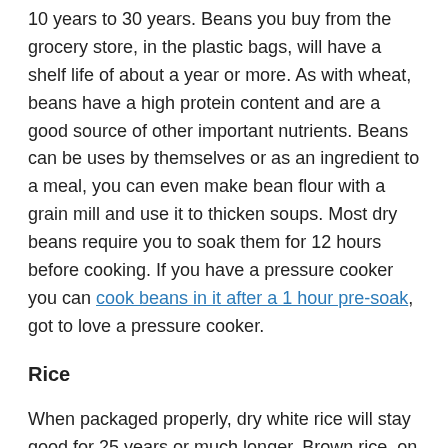10 years to 30 years. Beans you buy from the grocery store, in the plastic bags, will have a shelf life of about a year or more. As with wheat, beans have a high protein content and are a good source of other important nutrients. Beans can be uses by themselves or as an ingredient to a meal, you can even make bean flour with a grain mill and use it to thicken soups. Most dry beans require you to soak them for 12 hours before cooking. If you have a pressure cooker you can cook beans in it after a 1 hour pre-soak, got to love a pressure cooker.
Rice
When packaged properly, dry white rice will stay good for 25 years or much longer. Brown rice, on the other hand, does not store well. You may get 1-2 years on well packaged brown rice (not a good long term storage item but not bad for short term storage). White rice does not have a lot of nutritional value but will give you a good item to mix up your